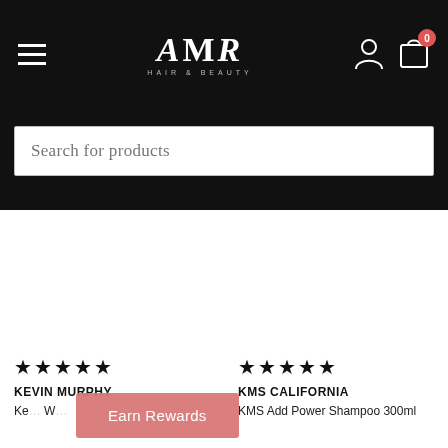AMR Hair & Beauty — navigation bar with hamburger menu, logo, user icon, cart icon
Search for products
★★★★★
KEVIN MURPHY
Ke... W...
★★★★★
KMS CALIFORNIA
KMS Add Power Shampoo 300ml
Earn Rewards